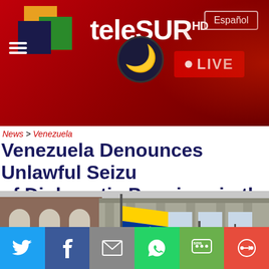[Figure (screenshot): teleSUR HD news website header with logo, moon icon, LIVE badge, and Español button on red background]
News > Venezuela
Venezuela Denounces Unlawful Seizure of Diplomatic Premises in the US
[Figure (photo): Exterior of Venezuelan diplomatic building in the US with Venezuelan and US flags flying outside]
[Figure (infographic): Social sharing bar with Twitter, Facebook, Email, WhatsApp, SMS, and another icon buttons]